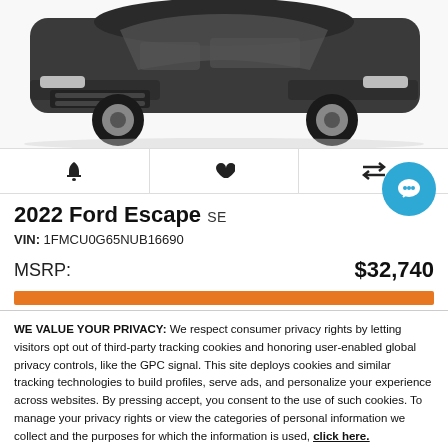[Figure (photo): Front view of a dark gray 2022 Ford Escape SUV on white background]
[Figure (infographic): Icon bar with bell/alert icon, heart/favorite icon, and compare arrows icon]
2022 Ford Escape SE
VIN: 1FMCU0G65NUB16690
MSRP: $32,740
WE VALUE YOUR PRIVACY: We respect consumer privacy rights by letting visitors opt out of third-party tracking cookies and honoring user-enabled global privacy controls, like the GPC signal. This site deploys cookies and similar tracking technologies to build profiles, serve ads, and personalize your experience across websites. By pressing accept, you consent to the use of such cookies. To manage your privacy rights or view the categories of personal information we collect and the purposes for which the information is used, click here.
Language: English   Powered by ComplyAuto
Accept and Continue →   Privacy Policy   ×